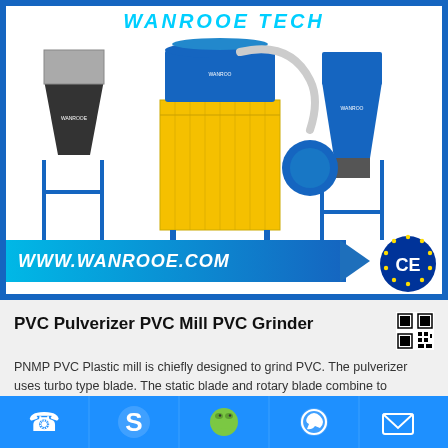[Figure (photo): Industrial PVC pulverizer/mill/grinder machine system with yellow cabinet, blue hopper and separator units, displayed against white background with blue border. WANROOE TECH branding at top. URL banner www.wanrooe.com with arrow at bottom, CE certification logo at bottom right.]
PVC Pulverizer PVC Mill PVC Grinder
PNMP PVC Plastic mill is chiefly designed to grind PVC. The pulverizer uses turbo type blade. The static blade and rotary blade combine to produce the products at different ratio of T/D...
[Figure (other): Bottom navigation bar with phone, Skype, WeChat, WhatsApp, and email icons in white on blue background]